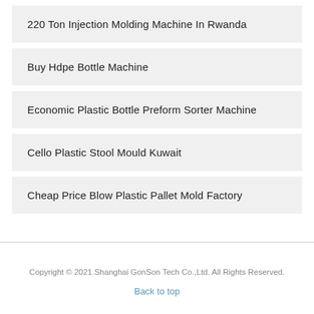220 Ton Injection Molding Machine In Rwanda
Buy Hdpe Bottle Machine
Economic Plastic Bottle Preform Sorter Machine
Cello Plastic Stool Mould Kuwait
Cheap Price Blow Plastic Pallet Mold Factory
Copyright © 2021.Shanghai GonSon Tech Co.,Ltd. All Rights Reserved.
Back to top